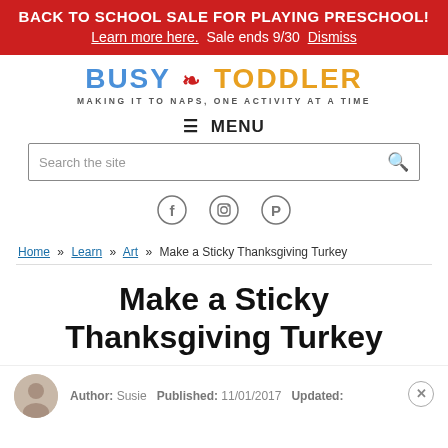BACK TO SCHOOL SALE FOR PLAYING PRESCHOOL! Learn more here. Sale ends 9/30 Dismiss
[Figure (logo): Busy Toddler logo with tagline: MAKING IT TO NAPS, ONE ACTIVITY AT A TIME]
MENU
Search the site
[Figure (illustration): Social media icons: Facebook, Instagram, Pinterest]
Home » Learn » Art » Make a Sticky Thanksgiving Turkey
Make a Sticky Thanksgiving Turkey
Author: Susie   Published: 11/01/2017   Updated: